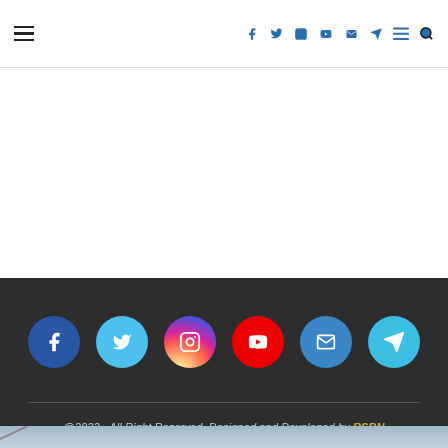Navigation header with hamburger menu, social icons (Facebook, Twitter, Instagram, YouTube, Email, Telegram), menu and search icons
[Figure (infographic): White empty content area]
[Figure (infographic): Dark footer section with six social media circular icon buttons: Facebook (blue), Twitter (light blue), Instagram (gradient), YouTube (red), Email (blue), Telegram (teal)]
@2022 - All Right Reserved. Designed and Developed by RSBN
BACK TO TOP